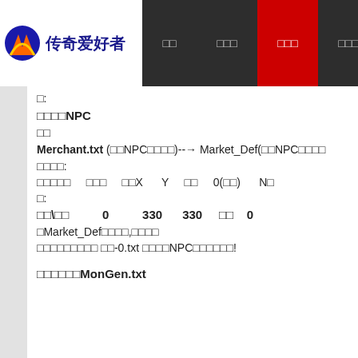传奇爱好者 [navigation bar with items]
□:
□□□□NPC
□□
Merchant.txt (□□NPC□□□□)--→ Market_Def(□□NPC□□□□
□□□□:
□□□□□　□□□　□□X　Y　□□　0(□□)　NP
□:
□□\□□　0　330　330　□□　0
□Market_Def□□□□,□□□□
□□□□□□□□□ □□-0.txt □□□□NPC□□□□□□!
□□□□□□MonGen.txt